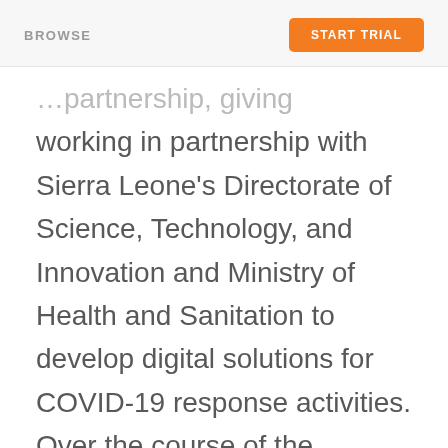BROWSE | START TRIAL
working in partnership with Sierra Leone's Directorate of Science, Technology, and Innovation and Ministry of Health and Sanitation to develop digital solutions for COVID-19 response activities. Over the course of the partnership, we developed multiple products to tackle different angles of the pandemic with the goal to scale nationally.
Notably, we built and deployed a